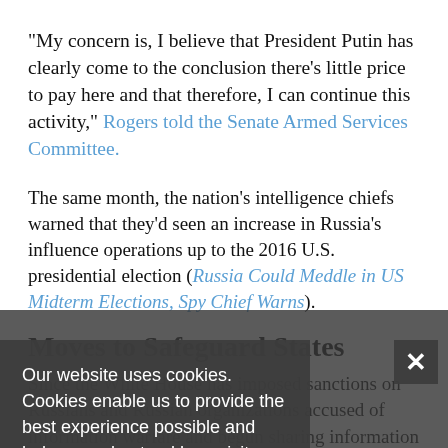"My concern is, I believe that President Putin has clearly come to the conclusion there's little price to pay here and that therefore, I can continue this activity," Rogers told the Senate Armed Services Committee.
The same month, the nation's intelligence chiefs warned that they'd seen an increase in Russia's influence operations up to the 2016 U.S. presidential election (See: Russia Could Meddle in US Midterm Elections, Spy Chief Warns).
Moves to Safeguard States
Since then, the White House has imposed sanctions on Russians and Russian organizations accused of information warfare and begun sharing information with states and election boards.
Our website uses cookies. Cookies enable us to provide the best experience possible and help us understand how visitors use our website. By browsing govinfosecurity.com, you agree to our use of cookies.